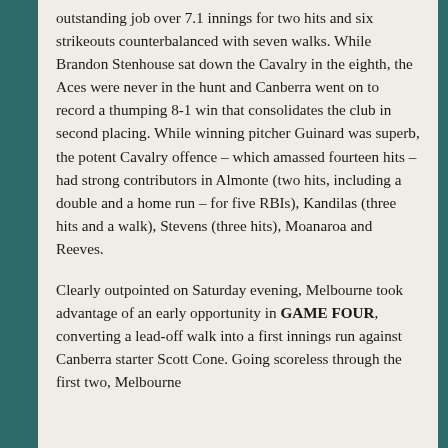outstanding job over 7.1 innings for two hits and six strikeouts counterbalanced with seven walks. While Brandon Stenhouse sat down the Cavalry in the eighth, the Aces were never in the hunt and Canberra went on to record a thumping 8-1 win that consolidates the club in second placing. While winning pitcher Guinard was superb, the potent Cavalry offence – which amassed fourteen hits – had strong contributors in Almonte (two hits, including a double and a home run – for five RBIs), Kandilas (three hits and a walk), Stevens (three hits), Moanaroa and Reeves.
Clearly outpointed on Saturday evening, Melbourne took advantage of an early opportunity in GAME FOUR, converting a lead-off walk into a first innings run against Canberra starter Scott Cone. Going scoreless through the first two, Melbourne